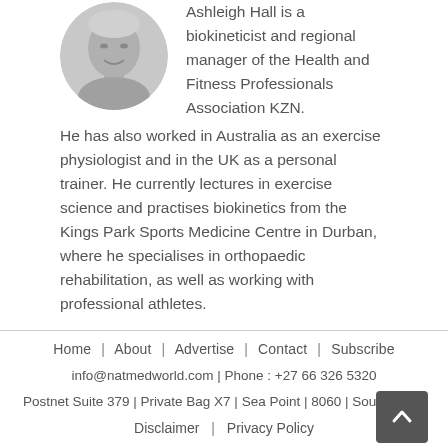[Figure (photo): Circular headshot photo of a blonde man smiling, in grayscale]
Ashleigh Hall is a biokineticist and regional manager of the Health and Fitness Professionals Association KZN. He has also worked in Australia as an exercise physiologist and in the UK as a personal trainer. He currently lectures in exercise science and practises biokinetics from the Kings Park Sports Medicine Centre in Durban, where he specialises in orthopaedic rehabilitation, as well as working with professional athletes.
Home | About | Advertise | Contact | Subscribe
info@natmedworld.com | Phone : +27 66 326 5320
Postnet Suite 379 | Private Bag X7 | Sea Point | 8060 | South Africa
Disclaimer | Privacy Policy